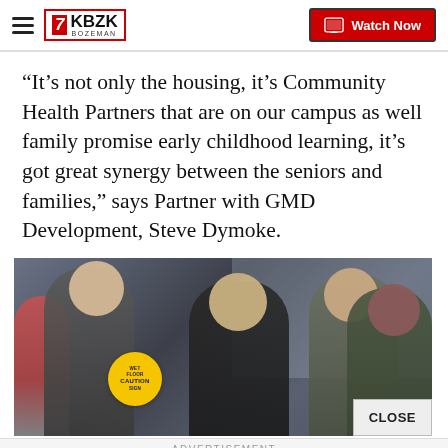KBZK Bozeman — Watch Now
“It’s not only the housing, it’s Community Health Partners that are on our campus as well family promise early childhood learning, it’s got great synergy between the seniors and families,” says Partner with GMD Development, Steve Dymoke.
[Figure (photo): Group of people smiling and laughing indoors, with a yellow caution badge visible in the background. A CLOSE button overlay is shown in the bottom-right corner.]
ADVERTISEMENT